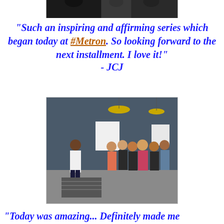[Figure (photo): Top portion of a photo showing people, partially cropped at the top of the page]
"Such an inspiring and affirming series which began today at #Metron. So looking forward to the next installment. I love it!" - JCJ
[Figure (photo): A woman in a white jacket standing and speaking to a group of people in a studio/event space with yellow pendant lights and photography lights in the background]
"Today was amazing... Definitely made me